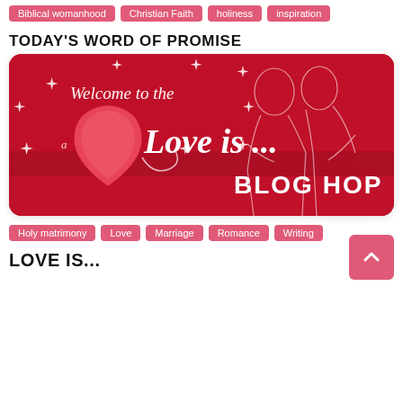Biblical womanhood
Christian Faith
holiness
inspiration
TODAY'S WORD OF PROMISE
[Figure (illustration): Red banner image: 'Welcome to the Love is ... BLOG HOP' with a heart graphic and silhouette of a couple, white decorative text on red background with star sparkles]
Holy matrimony
Love
Marriage
Romance
Writing
LOVE IS...